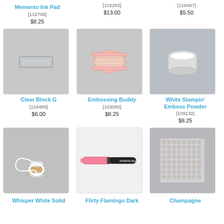Memento Ink Pad
[132708]
$8.25
[102283]
$13.00
[118487]
$5.50
[Figure (photo): Clear Block G stamp block on gray background]
[Figure (photo): Embossing Buddy pad in pink packaging on gray background]
[Figure (photo): White Stampin Emboss Powder jar on gray background]
Clear Block G
[118489]
$6.00
Embossing Buddy
[103083]
$8.25
White Stampin' Emboss Powder
[109132]
$8.25
[Figure (photo): Whisper White Solid Baker's Twine spool on gray background]
[Figure (photo): Flirty Flamingo Dark marker on light background]
[Figure (photo): Champagne rhinestone gems sheet on gray background]
Whisper White Solid
Flirty Flamingo Dark
Champagne